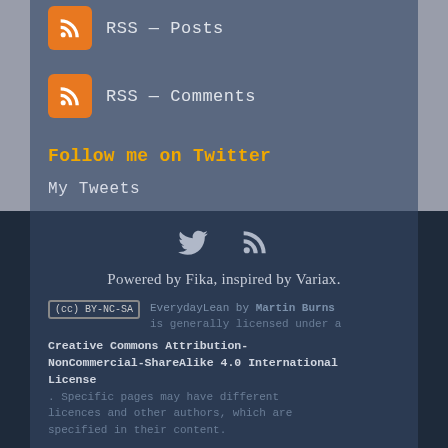RSS — Posts
RSS — Comments
Follow me on Twitter
My Tweets
[Figure (infographic): Social icons: Twitter bird and RSS feed symbol]
Powered by Fika, inspired by Variax.
EverydayLean by Martin Burns is generally licensed under a Creative Commons Attribution-NonCommercial-ShareAlike 4.0 International License. Specific pages may have different licences and other authors, which are specified in their content.